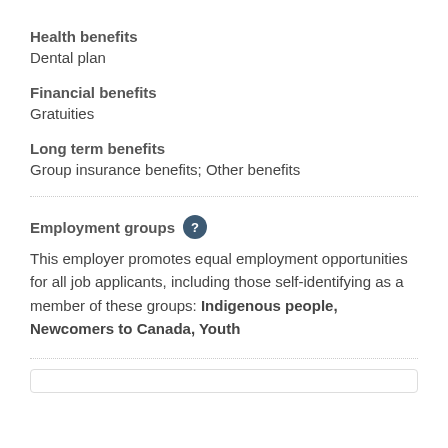Health benefits
Dental plan
Financial benefits
Gratuities
Long term benefits
Group insurance benefits; Other benefits
Employment groups
This employer promotes equal employment opportunities for all job applicants, including those self-identifying as a member of these groups: Indigenous people, Newcomers to Canada, Youth